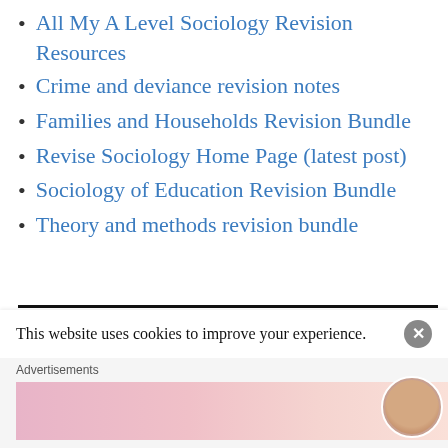All My A Level Sociology Revision Resources
Crime and deviance revision notes
Families and Households Revision Bundle
Revise Sociology Home Page (latest post)
Sociology of Education Revision Bundle
Theory and methods revision bundle
REVISION MEGA BUNDLE
[Figure (illustration): Purple/pink promotional banner image for Revision Mega Bundle]
This website uses cookies to improve your experience.
Advertisements